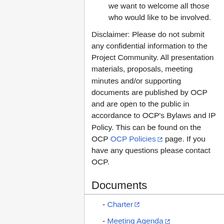we want to welcome all those who would like to be involved.
Disclaimer: Please do not submit any confidential information to the Project Community. All presentation materials, proposals, meeting minutes and/or supporting documents are published by OCP and are open to the public in accordance to OCP's Bylaws and IP Policy. This can be found on the OCP OCP Policies page. If you have any questions please contact OCP.
Documents
- Charter
- Meeting Agenda
Works in Progress
- Glossary